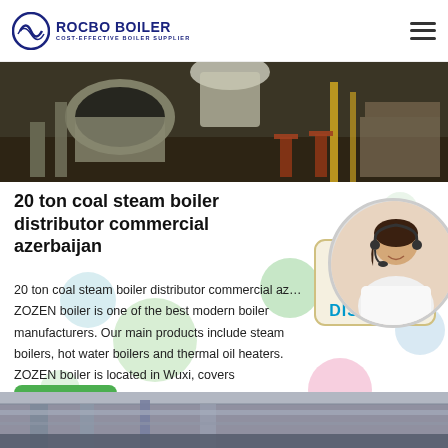ROCBO BOILER — COST-EFFECTIVE BOILER SUPPLIER
[Figure (photo): Industrial boiler factory interior with machinery and equipment]
20 ton coal steam boiler distributor commercial azerbaijan
[Figure (infographic): 10% DISCOUNT promotional badge hanging sign]
20 ton coal steam boiler distributor commercial azerbaijan ZOZEN boiler is one of the best modern boiler manufacturers. Our main products include steam boilers, hot water boilers and thermal oil heaters. ZOZEN boiler is located in Wuxi, covers
[Figure (photo): Customer service representative woman wearing headset smiling]
[Figure (photo): Industrial equipment/boiler installation bottom strip photo]